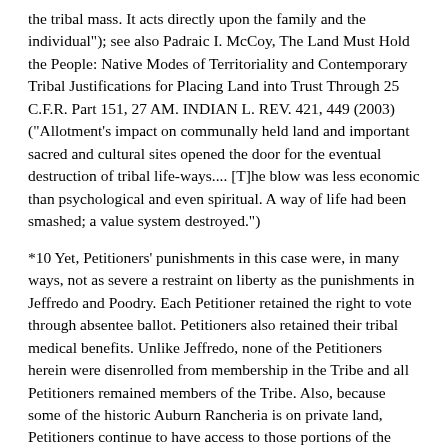the tribal mass. It acts directly upon the family and the individual"); see also Padraic I. McCoy, The Land Must Hold the People: Native Modes of Territoriality and Contemporary Tribal Justifications for Placing Land into Trust Through 25 C.F.R. Part 151, 27 AM. INDIAN L. REV. 421, 449 (2003) (“Allotment’s impact on communally held land and important sacred and cultural sites opened the door for the eventual destruction of tribal life-ways.... [T]he blow was less economic than psychological and even spiritual. A way of life had been smashed; a value system destroyed.”)
*10 Yet, Petitioners’ punishments in this case were, in many ways, not as severe a restraint on liberty as the punishments in Jeffredo and Poodry. Each Petitioner retained the right to vote through absentee ballot. Petitioners also retained their tribal medical benefits. Unlike Jeffredo, none of the Petitioners herein were disenrolled from membership in the Tribe and all Petitioners remained members of the Tribe. Also, because some of the historic Auburn Rancheria is on private land, Petitioners continue to have access to those portions of the Rancheria that are not tribal land.